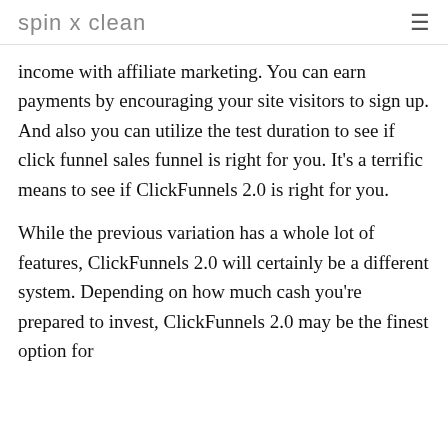spin x clean
income with affiliate marketing. You can earn payments by encouraging your site visitors to sign up. And also you can utilize the test duration to see if click funnel sales funnel is right for you. It’s a terrific means to see if ClickFunnels 2.0 is right for you.
While the previous variation has a whole lot of features, ClickFunnels 2.0 will certainly be a different system. Depending on how much cash you’re prepared to invest, ClickFunnels 2.0 may be the finest option for